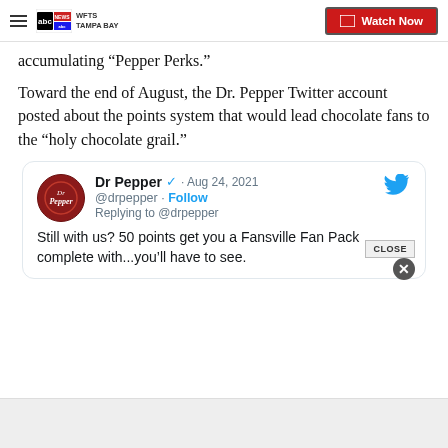WFTS TAMPA BAY | Watch Now
accumulating “Pepper Perks.”
Toward the end of August, the Dr. Pepper Twitter account posted about the points system that would lead chocolate fans to the “holy chocolate grail.”
[Figure (screenshot): Embedded tweet from @drpepper dated Aug 24, 2021 with Dr Pepper logo, verified badge, Follow link, replying to @drpepper, text: Still with us? 50 points get you a Fansville Fan Pack complete with...you’ll have to see. Twitter bird icon top right. Close button overlay bottom right.]